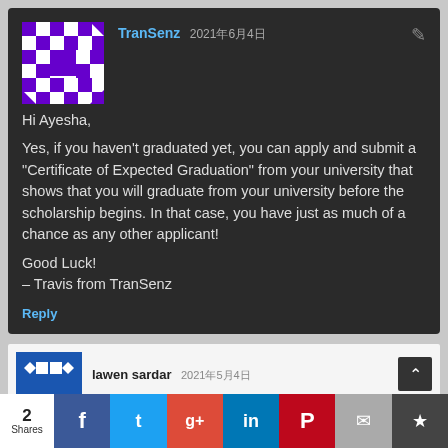[Figure (illustration): Purple and white geometric/checkerboard avatar pattern for TranSenz user]
TranSenz 2021年6月4日
Hi Ayesha,

Yes, if you haven't graduated yet, you can apply and submit a "Certificate of Expected Graduation" from your university that shows that you will graduate from your university before the scholarship begins. In that case, you have just as much of a chance as any other applicant!

Good Luck!
– Travis from TranSenz
Reply
[Figure (illustration): Blue and white geometric avatar for lawen sardar user]
lawen sardar 2021年5月4日
2 Shares — social share bar with Facebook, Twitter, Google+, LinkedIn, Pinterest, Email, and bookmark icons